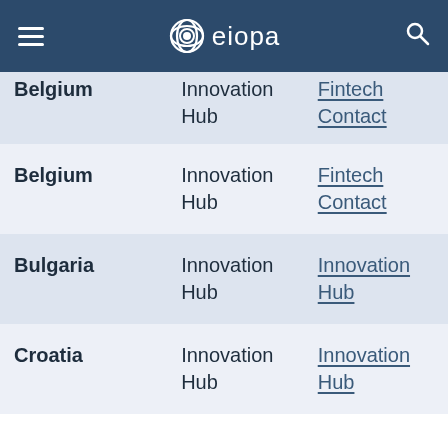EIOPA
| Country | Type | Link |
| --- | --- | --- |
| Belgium | Innovation Hub | Fintech Contact |
| Belgium | Innovation Hub | Fintech Contact |
| Bulgaria | Innovation Hub | Innovation Hub |
| Croatia | Innovation Hub | Innovation Hub |